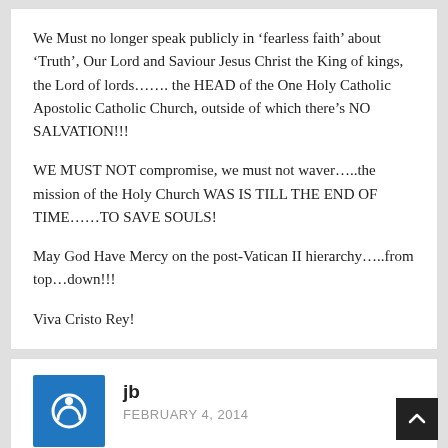We Must no longer speak publicly in ‘fearless faith’ about ‘Truth’, Our Lord and Saviour Jesus Christ the King of kings, the Lord of lords…….. the HEAD of the One Holy Catholic Apostolic Catholic Church, outside of which there’s NO SALVATION!!!
WE MUST NOT compromise, we must not waver…..the mission of the Holy Church WAS IS TILL THE END OF TIME……TO SAVE SOULS!
May God Have Mercy on the post-Vatican II hierarchy…..from top…down!!!
Viva Cristo Rey!
jb
FEBRUARY 4, 2014
i have to agree and will say no more. People like Rahner, Ratzinger, de Lubac, von Balthasar, while having added much to the Church, are the origin of this